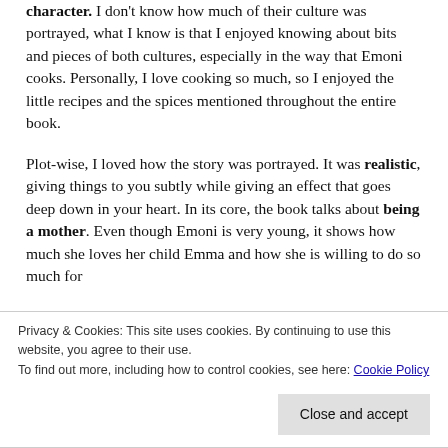character. I don't know how much of their culture was portrayed, what I know is that I enjoyed knowing about bits and pieces of both cultures, especially in the way that Emoni cooks. Personally, I love cooking so much, so I enjoyed the little recipes and the spices mentioned throughout the entire book.
Plot-wise, I loved how the story was portrayed. It was realistic, giving things to you subtly while giving an effect that goes deep down in your heart. In its core, the book talks about being a mother. Even though Emoni is very young, it shows how much she loves her child Emma and how she is willing to do so much for
Privacy & Cookies: This site uses cookies. By continuing to use this website, you agree to their use.
To find out more, including how to control cookies, see here: Cookie Policy